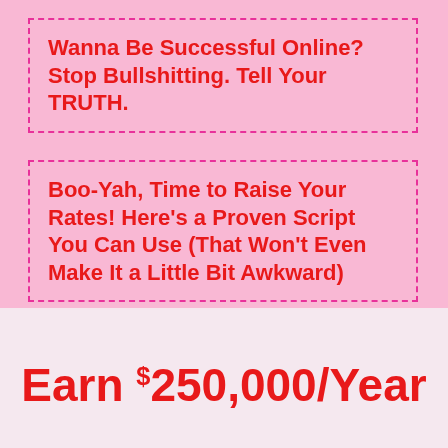Wanna Be Successful Online? Stop Bullshitting. Tell Your TRUTH.
Boo-Yah, Time to Raise Your Rates! Here's a Proven Script You Can Use (That Won't Even Make It a Little Bit Awkward)
Earn $250,000/Year